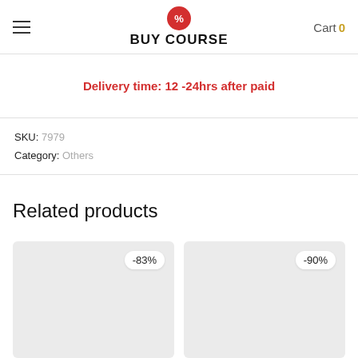BUY COURSE — Cart 0
Delivery time: 12 -24hrs after paid
SKU: 7979
Category: Others
Related products
[Figure (other): Product card with -83% discount badge on light grey background]
[Figure (other): Product card with -90% discount badge on light grey background]